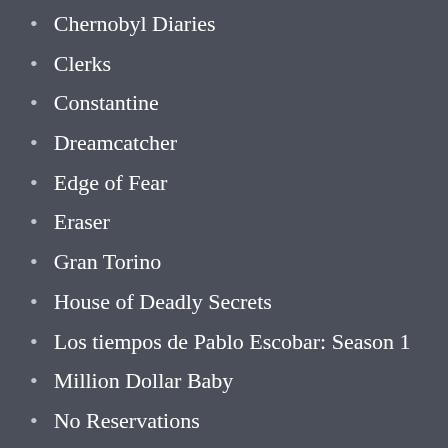Chernobyl Diaries
Clerks
Constantine
Dreamcatcher
Edge of Fear
Eraser
Gran Torino
House of Deadly Secrets
Los tiempos de Pablo Escobar: Season 1
Million Dollar Baby
No Reservations
Once in a Lifetime Sessions with Moby
Once in a Lifetime Sessions with Nile Rodgers
Once in a Lifetime Sessions with Noel Gallagher